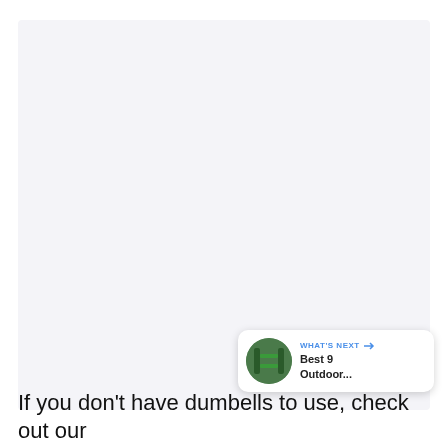[Figure (photo): Large light gray rectangular image placeholder area occupying most of the upper portion of the page]
[Figure (screenshot): UI overlay with heart/like button (blue circle), count of 1, share button, and a 'What's Next' card showing 'Best 9 Outdoor...' with a thumbnail]
If you don't have dumbells to use, check out our